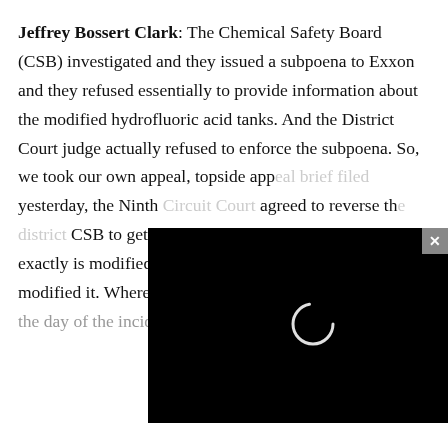Jeffrey Bossert Clark: The Chemical Safety Board (CSB) investigated and they issued a subpoena to Exxon and they refused essentially to provide information about the modified hydrofluoric acid tanks. And the District Court judge actually refused to enforce the subpoena. So, we took our own appeal, topside app[eal brief filed] yesterday, the Ninth [Circuit Court of Appeals] agreed to reverse th[e district court] CSB to get the infor[mation that was] subpoenaed, includi[ng what] exactly is modified hydrofluoric acid. You say you've modified it. Where did you get it from? How much? On the day of the incident, what was
[Figure (other): Black video player overlay with a loading spinner circle in the center and a close (x) button in the top right corner]